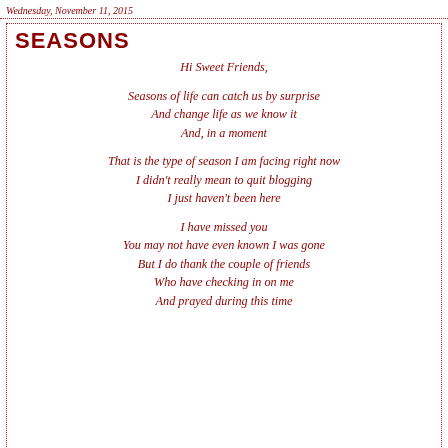Wednesday, November 11, 2015
SEASONS
Hi Sweet Friends,

Seasons of life can catch us by surprise
And change life as we know it
And, in a moment

That is the type of season I am facing right now
I didn't really mean to quit blogging
I just haven't been here

I have missed you
You may not have even known I was gone
But I do thank the couple of friends
Who have checking in on me
And prayed during this time